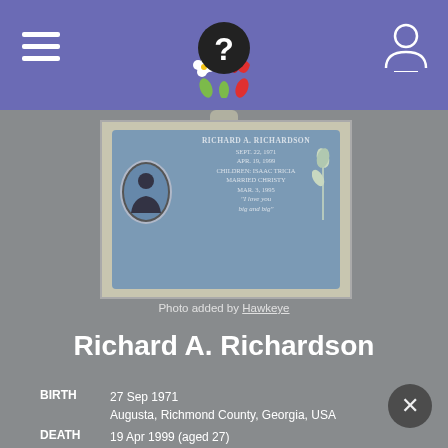FindAGrave menu header with logo and user icon
[Figure (photo): Gravestone photo of Richard A. Richardson showing blue granite headstone with portrait medallion, inscribed with name, birth Sept 22 1971, death Apr 19 1999, children Isaac Tricia, married Christy Mar 3 1995, and the phrase 'I love you big and big']
Photo added by Hawkeye
Richard A. Richardson
BIRTH   27 Sep 1971
Augusta, Richmond County, Georgia, USA
DEATH  19 Apr 1999 (aged 27)